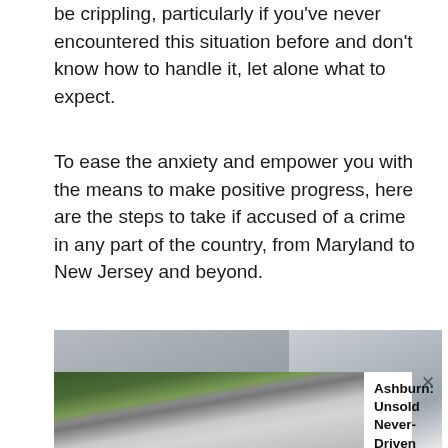be crippling, particularly if you've never encountered this situation before and don't know how to handle it, let alone what to expect.
To ease the anxiety and empower you with the means to make positive progress, here are the steps to take if accused of a crime in any part of the country, from Maryland to New Jersey and beyond.
[Figure (photo): Advertisement showing a car lot photo on the left and a grey sky background on the right, with ad content overlay reading 'Ashburn: Unsold Never-Driven Cars Now Almost Being Given... SUV Deals | Search Ads | Sponsored' and a close button.]